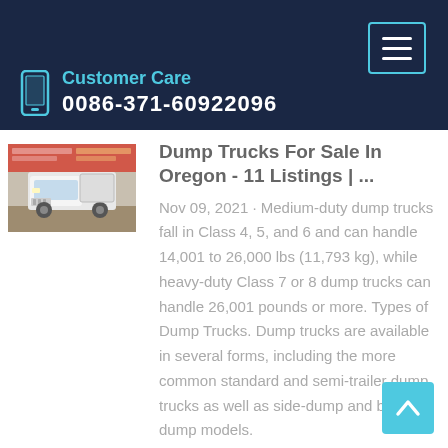Customer Care
0086-371-60922096
[Figure (photo): White dump truck facing forward, parked at a dirt lot with banners/signs in the background.]
Dump Trucks For Sale In Oregon - 11 Listings | ...
Nov 09, 2021 · Medium-duty dump trucks fall in Class 4, 5, and 6 and can handle 14,001 to 26,000 lbs (11,793 kg), while heavy-duty Class 7 or 8 dump trucks can handle 26,001 pounds or more. Types of Dump Trucks. Dump trucks are available in several forms, including the more common standard and semi-trailer dump trucks as well as side-dump and bottom-dump models.